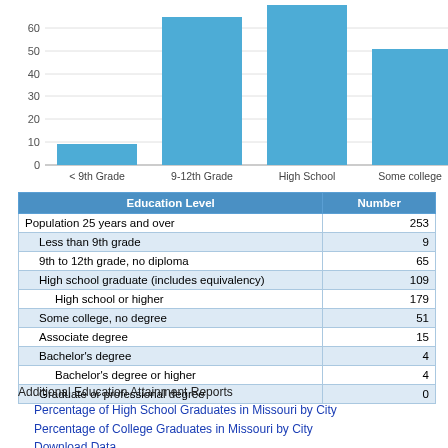[Figure (bar-chart): Education Attainment]
| Education Level | Number |
| --- | --- |
| Population 25 years and over | 253 |
| Less than 9th grade | 9 |
| 9th to 12th grade, no diploma | 65 |
| High school graduate (includes equivalency) | 109 |
| High school or higher | 179 |
| Some college, no degree | 51 |
| Associate degree | 15 |
| Bachelor's degree | 4 |
| Bachelor's degree or higher | 4 |
| Graduate or professional degree | 0 |
Additional Education Attainment Reports
Percentage of High School Graduates in Missouri by City
Percentage of College Graduates in Missouri by City
Download Data